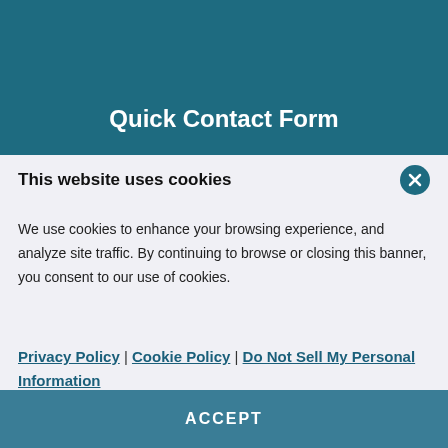Quick Contact Form
This website uses cookies
We use cookies to enhance your browsing experience, and analyze site traffic. By continuing to browse or closing this banner, you consent to our use of cookies.
Privacy Policy | Cookie Policy | Do Not Sell My Personal Information
Show details >
ACCEPT